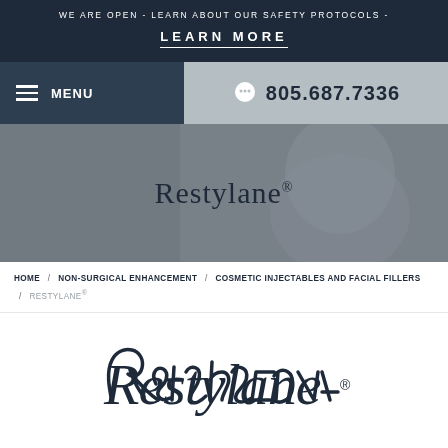WE ARE OPEN - LEARN ABOUT OUR SAFETY PROTOCOLS -
LEARN MORE
MENU
805.687.7336
Restylane®
HOME / NON-SURGICAL ENHANCEMENT / COSMETIC INJECTABLES AND FACIAL FILLERS / RESTYLANE®
[Figure (logo): Restylane cursive script logo in dark navy blue on white background]